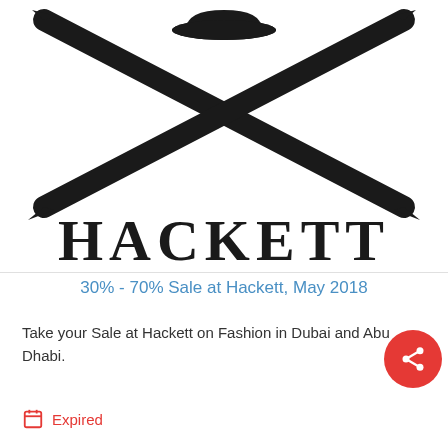[Figure (logo): Hackett London logo: black bowler hat above two crossed umbrellas/swords forming an X shape, with 'HACKETT' in large serif letters below]
30% - 70% Sale at Hackett, May 2018
Take your Sale at Hackett on Fashion in Dubai and Abu Dhabi.
Expired